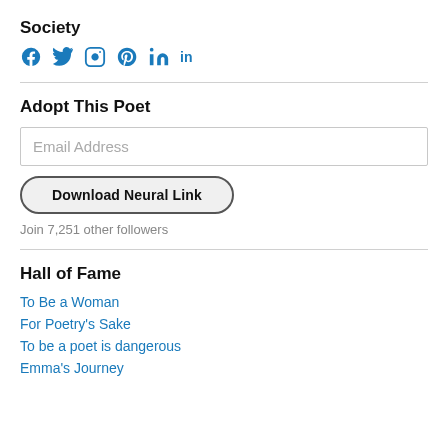Society
[Figure (infographic): Social media icons: Facebook, Twitter, Instagram, Pinterest, LinkedIn in blue]
Adopt This Poet
Email Address (input field)
Download Neural Link (button)
Join 7,251 other followers
Hall of Fame
To Be a Woman
For Poetry's Sake
To be a poet is dangerous
Emma's Journey